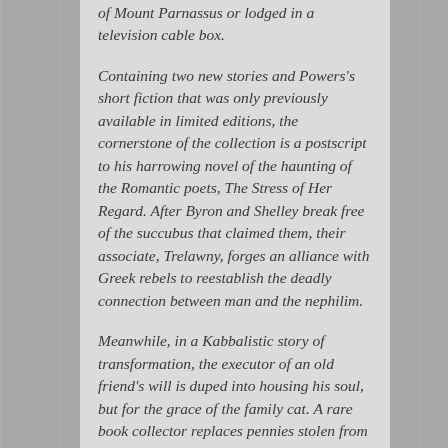of Mount Parnassus or lodged in a television cable box.
Containing two new stories and Powers's short fiction that was only previously available in limited editions, the cornerstone of the collection is a postscript to his harrowing novel of the haunting of the Romantic poets, The Stress of Her Regard. After Byron and Shelley break free of the succubus that claimed them, their associate, Trelawny, forges an alliance with Greek rebels to reestablish the deadly connection between man and the nephilim.
Meanwhile, in a Kabbalistic story of transformation, the executor of an old friend's will is duped into housing his soul, but for the grace of the family cat. A rare book collector replaces pennies stolen from Jean Harlow's square in the Hollywood Walk of Fame - and discovers a literary mystery with supernatural consequences. In a tale of time travel between 2015 1975, a tragedy sparked by an angel falling onto a pizza